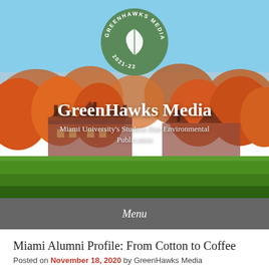[Figure (photo): Aerial campus photo of Miami University in autumn, showing brick buildings surrounded by colorful fall foliage trees and green lawn, with blue sky above. A circular green logo for GreenHawks Media 2021-22 with a white leaf icon is overlaid at the top center.]
GreenHawks Media
Miami University's Student-Run Environmental Publication
Menu
Miami Alumni Profile: From Cotton to Coffee
Posted on November 18, 2020 by GreenHawks Media